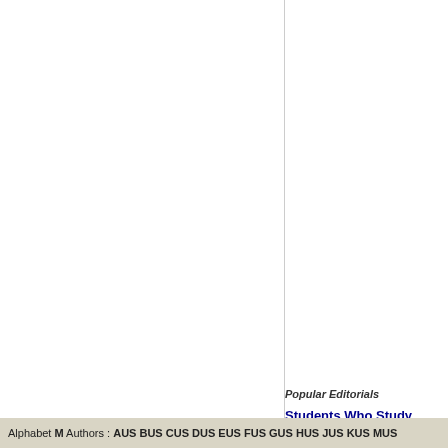Popular Editorials
Students Who Study
At spainexchange, we provide y
Personal Ads With P
Millions of personal ads are dri
Page 1 of 1: Photos Mus | 1
Alphabet M Authors : AUS BUS CUS DUS EUS FUS GUS HUS JUS KUS MUS